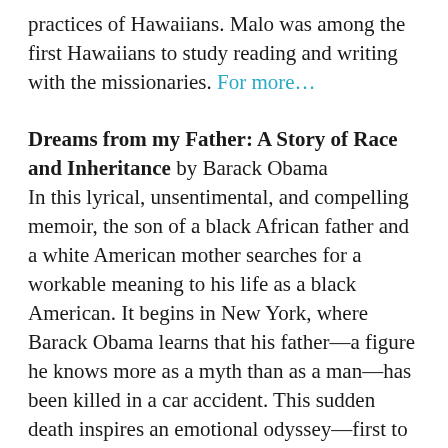practices of Hawaiians. Malo was among the first Hawaiians to study reading and writing with the missionaries. For more…
Dreams from my Father: A Story of Race and Inheritance by Barack Obama In this lyrical, unsentimental, and compelling memoir, the son of a black African father and a white American mother searches for a workable meaning to his life as a black American. It begins in New York, where Barack Obama learns that his father—a figure he knows more as a myth than as a man—has been killed in a car accident. This sudden death inspires an emotional odyssey—first to a small town in Kansas, from which he retraces the migration of